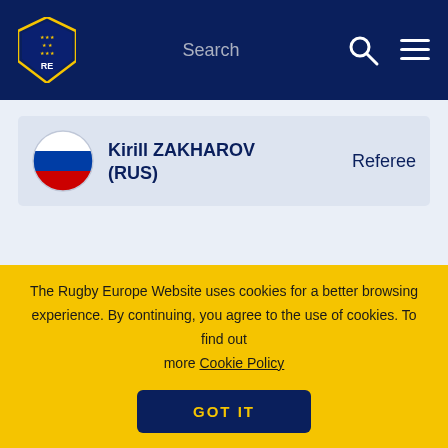[Figure (logo): Rugby Europe shield logo, dark navy background navigation bar with Search label, search icon, and hamburger menu]
Kirill ZAKHAROV (RUS)  Referee
NEXT MATCH
The Rugby Europe Website uses cookies for a better browsing experience. By continuing, you agree to the use of cookies. To find out more Cookie Policy
GOT IT